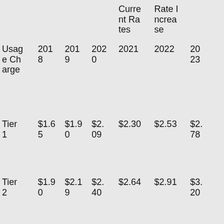| Usage Charge | 2018 | 2019 | 2020 | Current Rates 2021 | Rate Increase 2022 | 2023 |
| --- | --- | --- | --- | --- | --- | --- |
| Tier 1 | $1.65 | $1.90 | $2.09 | $2.30 | $2.53 | $2.78 |
| Tier 2 | $1.90 | $2.19 | $2.40 | $2.64 | $2.91 | $3.20 |